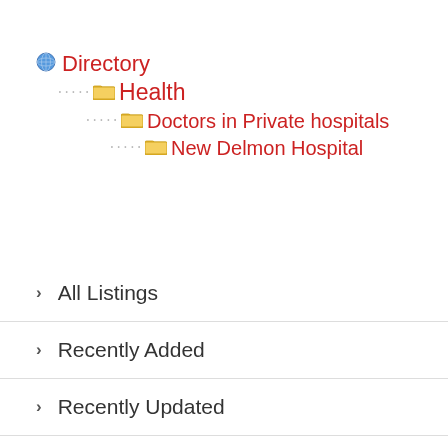Directory
Health
Doctors in Private hospitals
New Delmon Hospital
All Listings
Recently Added
Recently Updated
Featured